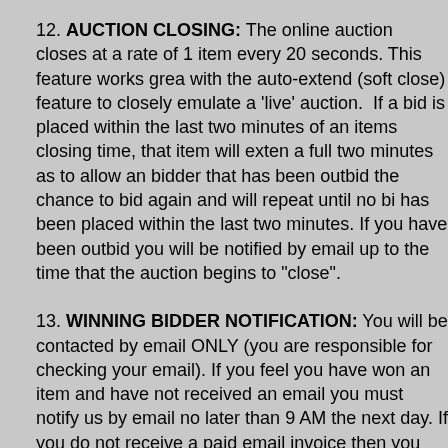12. AUCTION CLOSING: The online auction closes at a rate of 1 item every 20 seconds. This feature works great with the auto-extend (soft close) feature to closely emulate a 'live' auction.  If a bid is placed within the last two minutes of an items closing time, that item will extend a full two minutes as to allow an bidder that has been outbid the chance to bid again and will repeat until no bid has been placed within the last two minutes. If you have been outbid you will be notified by email up to the time that the auction begins to "close".
13. WINNING BIDDER NOTIFICATION: You will be contacted by email ONLY (you are responsible for checking your email). If you feel you have won an item and have not received an email you must notify us by email no later than 9 AM the next day. If you do not receive a paid email invoice then you did not win any items at the online auction. NOTE: it takes time to